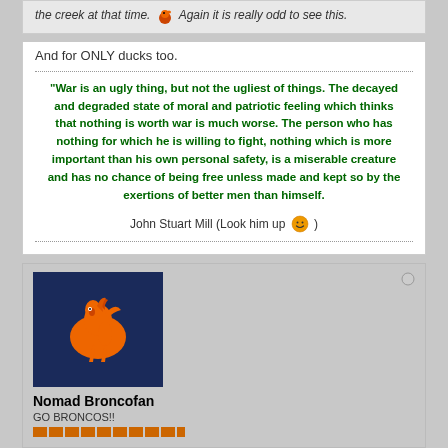the creek at that time. Again it is really odd to see this.
And for ONLY ducks too.
"War is an ugly thing, but not the ugliest of things. The decayed and degraded state of moral and patriotic feeling which thinks that nothing is worth war is much worse. The person who has nothing for which he is willing to fight, nothing which is more important than his own personal safety, is a miserable creature and has no chance of being free unless made and kept so by the exertions of better men than himself. John Stuart Mill (Look him up )
[Figure (photo): Denver Broncos avatar - dark blue background with orange Broncos horse logo]
Nomad Broncofan
GO BRONCOS!!
Join Date: Dec 2003   Posts: 3090
12-18-2006, 06:26 PM   #15